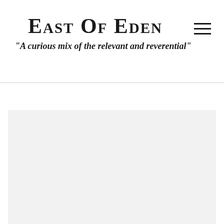East Of Eden
"A curious mix of the relevant and reverential"
[Figure (other): Light gray rectangular content/image placeholder area below the header divider]